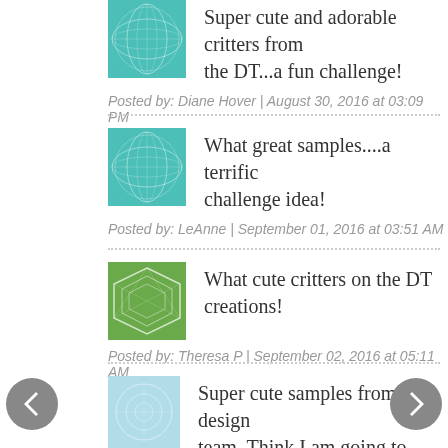Super cute and adorable critters from the DT...a fun challenge!
Posted by: Diane Hover | August 30, 2016 at 03:09 PM
What great samples....a terrific challenge idea!
Posted by: LeAnne | September 01, 2016 at 03:51 AM
What cute critters on the DT creations!
Posted by: Theresa P | September 02, 2016 at 05:11 AM
Super cute samples from the design team. Think I am going to have some